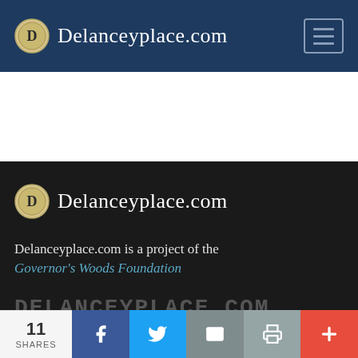Delanceyplace.com
[Figure (logo): Delanceyplace.com footer logo with circular D emblem]
Delanceyplace.com is a project of the Governor's Woods Foundation
DELANCEYPLACE.COM
11 SHARES